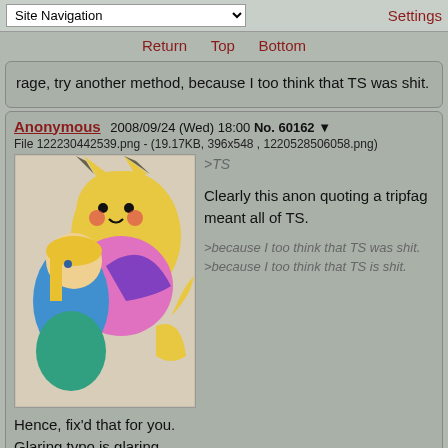Site Navigation | Settings
Return  Top  Bottom
rage, try another method, because I too think that TS was shit.
Anonymous  2008/09/24 (Wed) 18:00  No. 60162  ▼
File 122230442539.png - (19.17KB, 396x548 , 1220528506058.png)
>TS
Clearly this anon quoting a tripfag meant all of TS.
>because I too think that TS was shit.
>because I too think that TS is shit.
Hence, fix'd that for you.
Glaring typo is glaring.
YAF !nmVOHsTRd.  2008/09/24 (Wed) 18:05  No. 60163